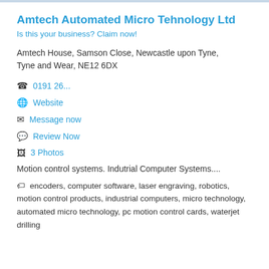Amtech Automated Micro Tehnology Ltd
Is this your business? Claim now!
Amtech House, Samson Close, Newcastle upon Tyne, Tyne and Wear, NE12 6DX
0191 26...
Website
Message now
Review Now
3 Photos
Motion control systems. Indutrial Computer Systems....
encoders, computer software, laser engraving, robotics, motion control products, industrial computers, micro technology, automated micro technology, pc motion control cards, waterjet drilling